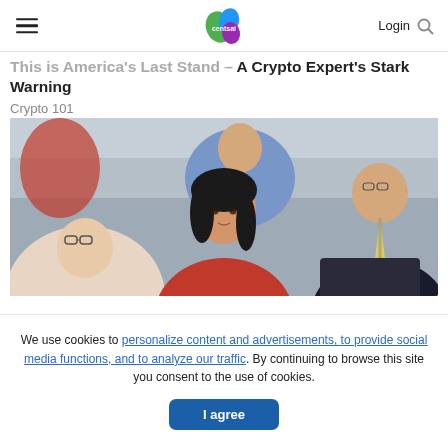CentSai — Login
This is America's Last Stand – A Crypto Expert's Stark Warning
Crypto 101
[Figure (photo): People seated in a classroom or conference setting, attentively listening. A young Asian woman in a red shirt is prominent in the center, with other attendees around her.]
We use cookies to personalize content and advertisements, to provide social media functions, and to analyze our traffic. By continuing to browse this site you consent to the use of cookies.